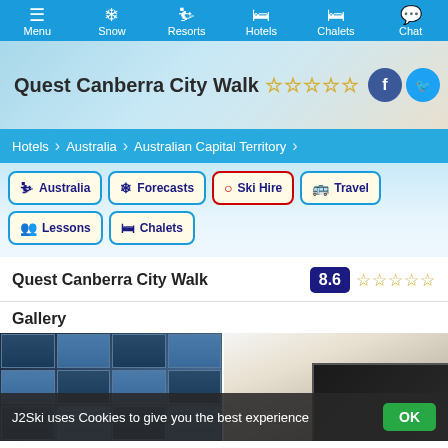Menu | Snow | Resorts | Hotels | Chalets | Chat
[Figure (screenshot): Hero banner image with snowy mountain background showing Quest Canberra City Walk title with star rating and Facebook/Twitter social icons]
Hotels > Australia > Australian Capital Territory
Australia | Forecasts | Ski Hire | Travel | Lessons | Chalets
Quest Canberra City Walk — Rating: 8.6 with star rating
Gallery
[Figure (photo): Two hotel photos: left shows exterior building facade at night with blue/dark glass windows; right shows interior room with white ceiling and dark window frame]
J2Ski uses Cookies to give you the best experience OK